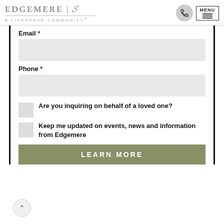EDGEMERE | A LIFESPACE COMMUNITY®  MENU
Email *
Phone *
Are you inquiring on behalf of a loved one?
Keep me updated on events, news and information from Edgemere
LEARN MORE